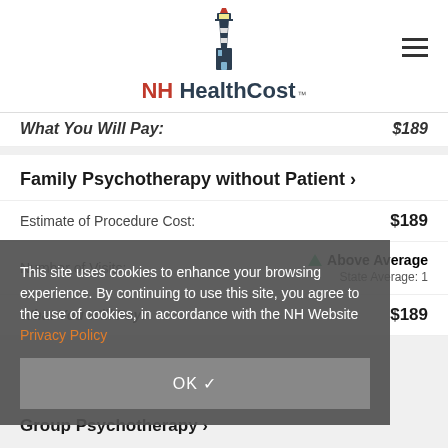[Figure (logo): NH HealthCost logo with lighthouse illustration]
What You Will Pay: $189
Family Psychotherapy without Patient >
|  |  |
| --- | --- |
| Estimate of Procedure Cost: | $189 |
| Number of Visits: | Above Average / State Average: 1 |
| What You Will Pay: | $189 |
This site uses cookies to enhance your browsing experience. By continuing to use this site, you agree to the use of cookies, in accordance with the NH Website Privacy Policy
OK ✓
Group Psychotherapy >